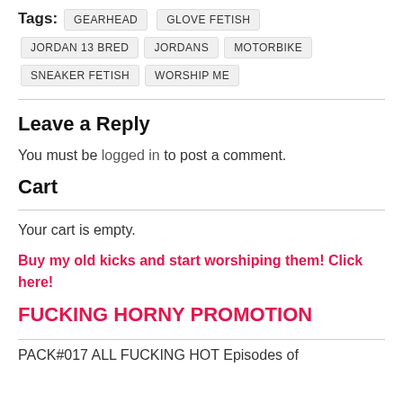Tags: GEARHEAD  GLOVE FETISH  JORDAN 13 BRED  JORDANS  MOTORBIKE  SNEAKER FETISH  WORSHIP ME
Leave a Reply
You must be logged in to post a comment.
Cart
Your cart is empty.
Buy my old kicks and start worshiping them! Click here!
FUCKING HORNY PROMOTION
PACK#017 ALL FUCKING HOT Episodes of